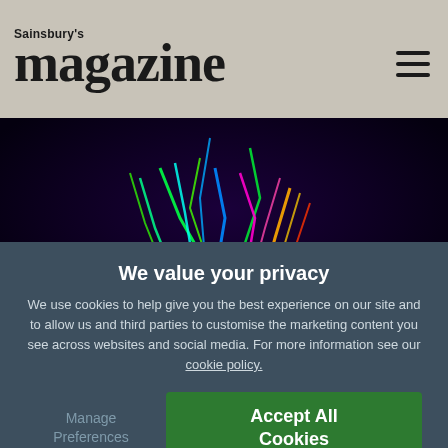Sainsbury's magazine
[Figure (photo): People standing with backs to camera holding hands, looking at a tree illuminated with colorful neon light trails in green, blue, pink, yellow and orange against a dark night sky.]
We value your privacy
We use cookies to help give you the best experience on our site and to allow us and third parties to customise the marketing content you see across websites and social media. For more information see our cookie policy.
Manage Preferences
Accept All Cookies